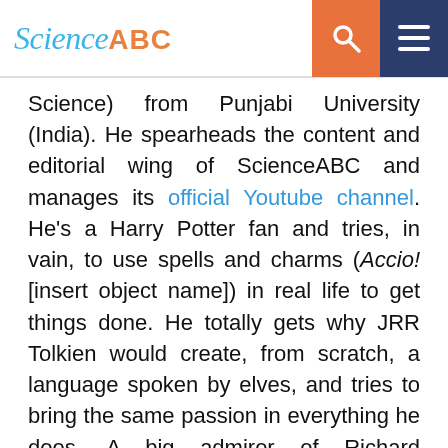Science ABC [search icon] [menu icon]
Science) from Punjabi University (India). He spearheads the content and editorial wing of ScienceABC and manages its official Youtube channel. He's a Harry Potter fan and tries, in vain, to use spells and charms (Accio! [insert object name]) in real life to get things done. He totally gets why JRR Tolkien would create, from scratch, a language spoken by elves, and tries to bring the same passion in everything he does. A big admirer of Richard Feynman and Nikola Tesla, he obsesses over how thoroughly science dictates every aspect of